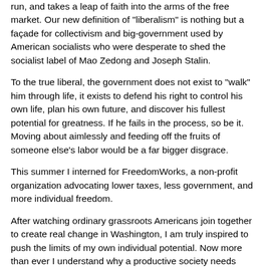run, and takes a leap of faith into the arms of the free market. Our new definition of "liberalism" is nothing but a façade for collectivism and big-government used by American socialists who were desperate to shed the socialist label of Mao Zedong and Joseph Stalin.
To the true liberal, the government does not exist to "walk" him through life, it exists to defend his right to control his own life, plan his own future, and discover his fullest potential for greatness. If he fails in the process, so be it. Moving about aimlessly and feeding off the fruits of someone else's labor would be a far bigger disgrace.
This summer I interned for FreedomWorks, a non-profit organization advocating lower taxes, less government, and more individual freedom.
After watching ordinary grassroots Americans join together to create real change in Washington, I am truly inspired to push the limits of my own individual potential. Now more than ever I understand why a productive society needs capitalism and individual freedom.